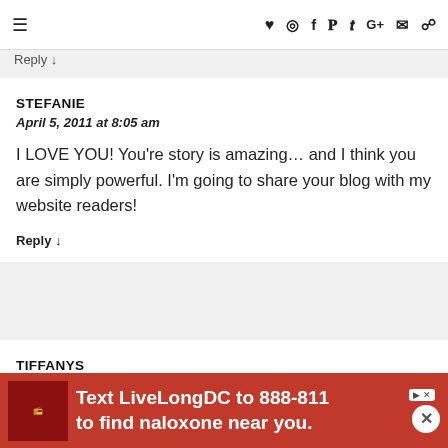≡  ♥ Instagram f Pinterest Twitter G+ Email RSS
Reply ↓
STEFANIE
April 5, 2011 at 8:05 am
I LOVE YOU! You're story is amazing… and I think you are simply powerful. I'm going to share your blog with my website readers!
Reply ↓
TIFFANYS
April 5, 2011 at 8:15 am
that is vervvv insiprational! Thank you for telling us your story a...
[Figure (infographic): Red advertisement bar: Text LiveLongDC to 888-811 to find naloxone near you.]